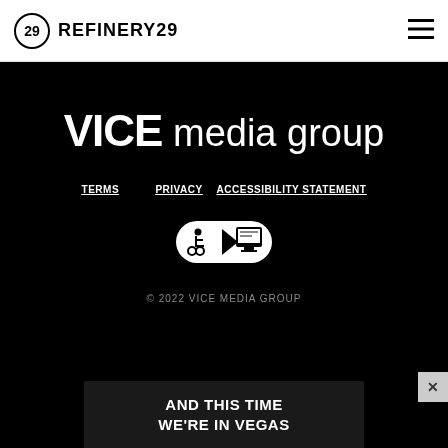REFINERY29
[Figure (logo): VICE media group logo in white on black background]
TERMS   PRIVACY   ACCESSIBILITY STATEMENT
[Figure (illustration): Accessibility icons: wheelchair, play button, and screen/caption symbols inside a pill-shaped white badge]
© 2022 VICE MEDIA GROUP
AND THIS TIME WE'RE IN VEGAS